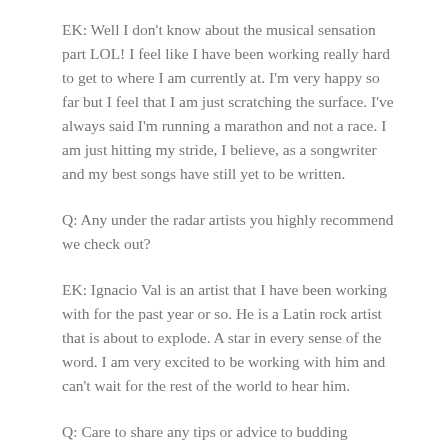EK: Well I don't know about the musical sensation part LOL! I feel like I have been working really hard to get to where I am currently at. I'm very happy so far but I feel that I am just scratching the surface. I've always said I'm running a marathon and not a race. I am just hitting my stride, I believe, as a songwriter and my best songs have still yet to be written.
Q: Any under the radar artists you highly recommend we check out?
EK: Ignacio Val is an artist that I have been working with for the past year or so. He is a Latin rock artist that is about to explode. A star in every sense of the word. I am very excited to be working with him and can't wait for the rest of the world to hear him.
Q: Care to share any tips or advice to budding musicians seeking out a career in music?